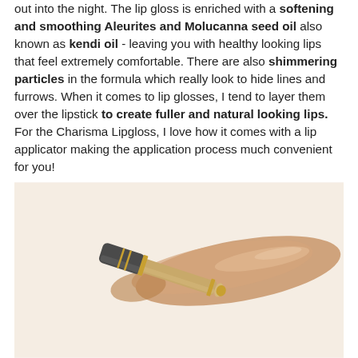out into the night. The lip gloss is enriched with a softening and smoothing Aleurites and Molucanna seed oil also known as kendi oil - leaving you with healthy looking lips that feel extremely comfortable. There are also shimmering particles in the formula which really look to hide lines and furrows. When it comes to lip glosses, I tend to layer them over the lipstick to create fuller and natural looking lips. For the Charisma Lipgloss, I love how it comes with a lip applicator making the application process much convenient for you!
[Figure (photo): Charisma Lipgloss product photo showing a lip gloss wand with dark grey and gold cap alongside a bronze/nude shimmer gloss swatch on white background]